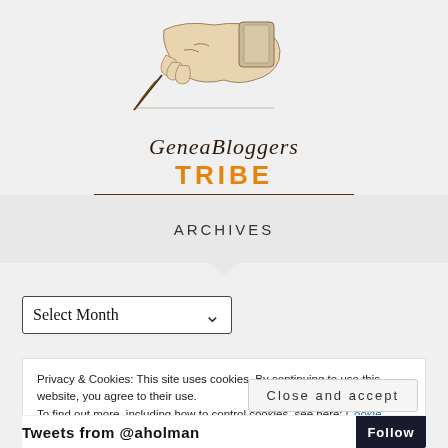[Figure (logo): GeneaBloggers TRIBE logo with a vintage hand writing illustration, text 'GeneaBloggers' in serif italic and 'TRIBE' in bold orange uppercase letters, with a dark brown horizontal rule beneath]
ARCHIVES
Select Month
Privacy & Cookies: This site uses cookies. By continuing to use this website, you agree to their use.
To find out more, including how to control cookies, see here: Cookie Policy
Close and accept
Tweets from @aholman